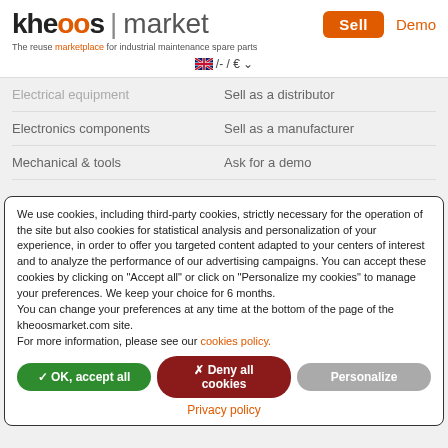[Figure (logo): Kheoos market logo with orange Sell button and Demo link]
The reuse marketplace for industrial maintenance spare parts
🇬🇧 /- / € ∨
Electrical equipment    Sell as a distributor
Electronics components    Sell as a manufacturer
Mechanical & tools    Ask for a demo
We use cookies, including third-party cookies, strictly necessary for the operation of the site but also cookies for statistical analysis and personalization of your experience, in order to offer you targeted content adapted to your centers of interest and to analyze the performance of our advertising campaigns. You can accept these cookies by clicking on "Accept all" or click on "Personalize my cookies" to manage your preferences. We keep your choice for 6 months.
You can change your preferences at any time at the bottom of the page of the kheoosmarket.com site.
For more information, please see our cookies policy.
✓ OK, accept all
✗ Deny all cookies
Personalize
Privacy policy